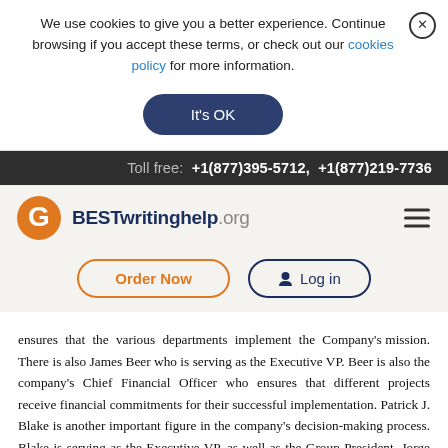We use cookies to give you a better experience. Continue browsing if you accept these terms, or check out our cookies policy for more information.
It's OK
Toll free: +1(877)395-5712, +1(877)219-7736
[Figure (logo): BESTwritinghelp.org logo with orange circular G icon]
Order Now
Log in
ensures that the various departments implement the company's mission. There is also James Beer who is serving as the Executive VP. Beer is also the company's Chief Financial Officer who ensures that different projects receive financial commitments for their successful implementation. Patrick J. Blake is another important figure in the company's decision-making process. Blake is serving as the Executive VP, as well as the Group President. Jorge L. Figueredo serves not only as the Executive VP, but also as the Human Resources Director who ensures that only the best human capital joins the company. This